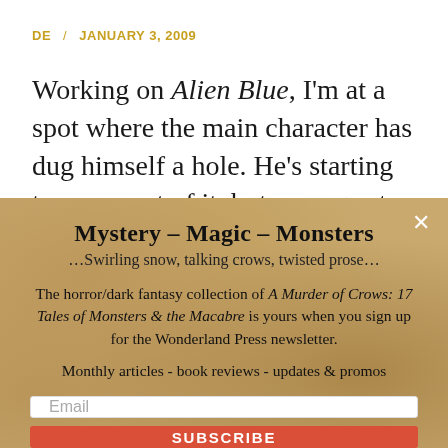DE / JANUARY 3, 2009
Working on Alien Blue, I'm at a spot where the main character has dug himself a hole. He's starting to come out of it–but manages to screw things up again (big
Mystery – Magic – Monsters
…Swirling snow, talking crows, twisted prose…
The horror/dark fantasy collection of A Murder of Crows: 17 Tales of Monsters & the Macabre is yours when you sign up for the Wonderland Press newsletter.
Monthly articles - book reviews - updates & promos